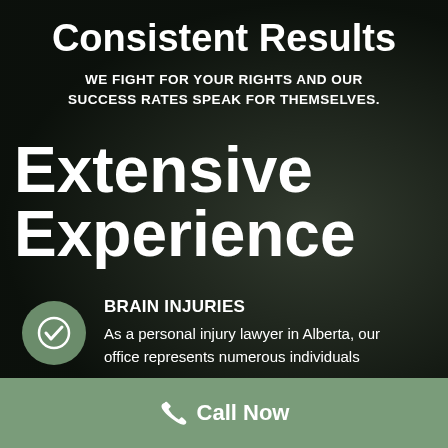Consistent Results
WE FIGHT FOR YOUR RIGHTS AND OUR SUCCESS RATES SPEAK FOR THEMSELVES.
Extensive Experience
BRAIN INJURIES
As a personal injury lawyer in Alberta, our office represents numerous individuals
Call Now